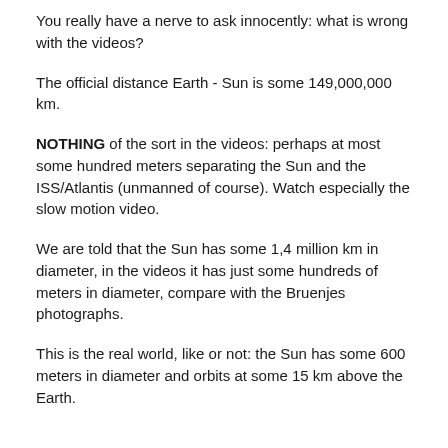You really have a nerve to ask innocently: what is wrong with the videos?
The official distance Earth - Sun is some 149,000,000 km.
NOTHING of the sort in the videos: perhaps at most some hundred meters separating the Sun and the ISS/Atlantis (unmanned of course). Watch especially the slow motion video.
We are told that the Sun has some 1,4 million km in diameter, in the videos it has just some hundreds of meters in diameter, compare with the Bruenjes photographs.
This is the real world, like or not: the Sun has some 600 meters in diameter and orbits at some 15 km above the Earth.
You are going to have to explain better what you were trying to convey about the planes, FB and the Sun,